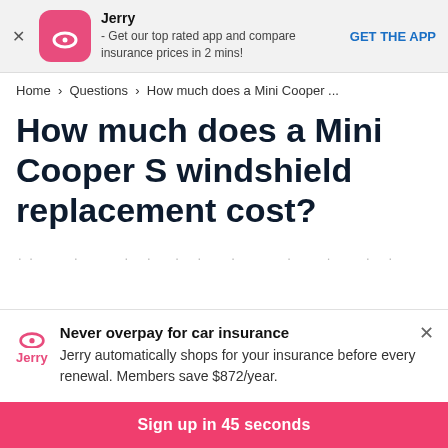Jerry
- Get our top rated app and compare insurance prices in 2 mins!
GET THE APP
Home > Questions > How much does a Mini Cooper ...
How much does a Mini Cooper S windshield replacement cost?
...
Never overpay for car insurance
Jerry automatically shops for your insurance before every renewal. Members save $872/year.
Sign up in 45 seconds